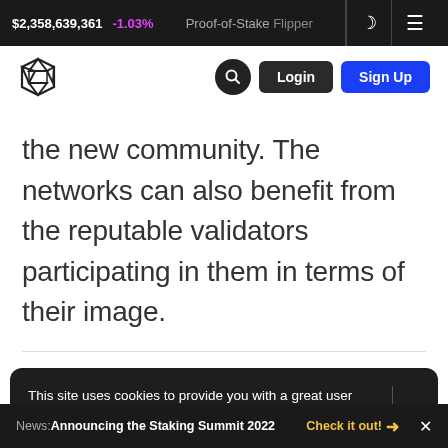$2,358,639,361  -1.03%  Proof-of-Stake Flipper
[Figure (screenshot): Website navigation bar with logo, search, Login and Sign Up buttons]
the new community. The networks can also benefit from the reputable validators participating in them in terms of their image.
This site uses cookies to provide you with a great user experience. By using Staking Rewards, you accept our use of cookies.
News: Announcing the Staking Summit 2022   Check it out! →  ×